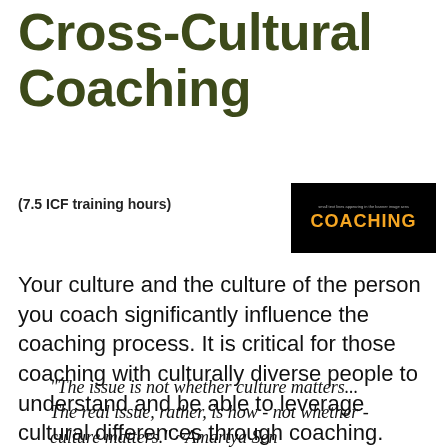Cross-Cultural Coaching
(7.5 ICF training hours)
[Figure (photo): Book or course thumbnail with black background and orange text reading COACHING]
Your culture and the culture of the person you coach significantly influence the coaching process. It is critical for those coaching with culturally diverse people to understand and be able to leverage cultural differences through coaching.
"The issue is not whether culture matters... The real issue, rather, is how - not whether - culture matters." ~Amartya Sen